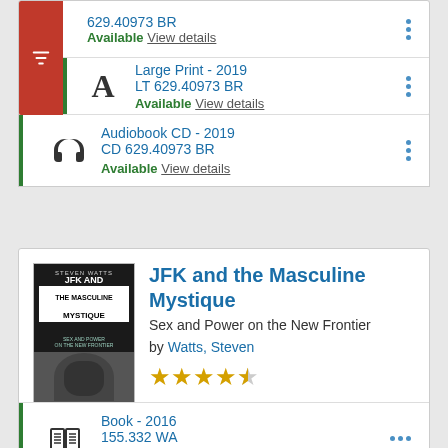629.40973 BR — Available View details (cropped top row)
Large Print - 2019
LT 629.40973 BR
Available View details
Audiobook CD - 2019
CD 629.40973 BR
Available View details
JFK and the Masculine Mystique
Sex and Power on the New Frontier
by Watts, Steven
[Figure (other): 4.5 out of 5 stars rating]
Book - 2016
155.332 WA
Available View details